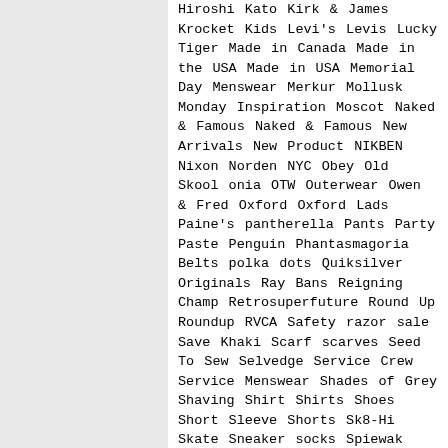Hiroshi Kato Kirk & James Krocket Kids Levi's Levis Lucky Tiger Made in Canada Made in the USA Made in USA Memorial Day Menswear Merkur Mollusk Monday Inspiration Moscot Naked & Famous Naked & Famous New Arrivals New Product NIKBEN Nixon Norden NYC Obey Old Skool onia OTW Outerwear Owen & Fred Oxford Oxford Lads Paine's pantherella Pants Party Paste Penguin Phantasmagoria Belts polka dots Quiksilver Originals Ray Bans Reigning Champ Retrosuperfuture Round Up Roundup RVCA Safety razor sale Save Khaki Scarf scarves Seed To Sew Selvedge Service Crew Service Menswear Shades of Grey Shaving Shirt Shirts Shoes Short Sleeve Shorts Sk8-Hi Skate Sneaker socks Spiewak Square Trade Goods Steven Alan Stocking Stuffer Stocklist Stripes Style Feature Summer Summer Sale sundek Sunglasses Super surf Sweater Sweaters Sweatshirts swim SYSW t-